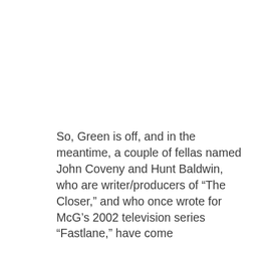So, Green is off, and in the meantime, a couple of fellas named John Coveny and Hunt Baldwin, who are writer/producers of “The Closer,” and who once wrote for McG’s 2002 television series “Fastlane,” have come